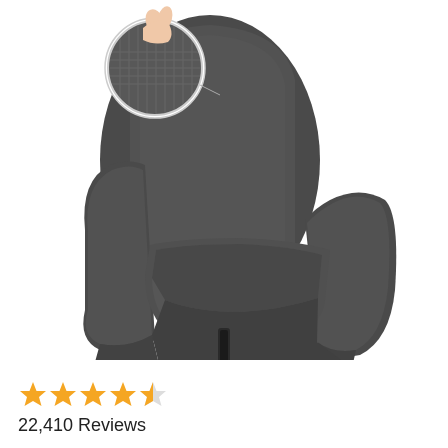[Figure (photo): A dark gray recliner chair covered with a textured stretch fabric slipcover. A circular inset at the top shows a close-up of the fabric texture with a hand pinching it. The recliner handle is visible at the bottom center of the chair.]
★★★★½ 22,410 Reviews